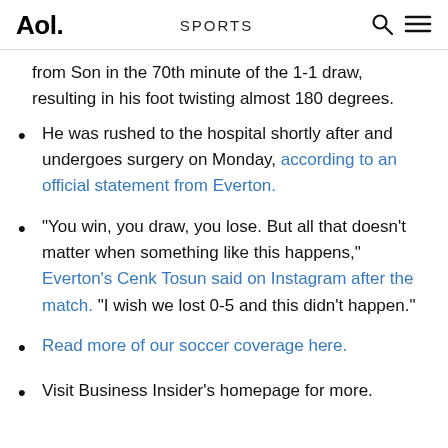Aol. | SPORTS
from Son in the 70th minute of the 1-1 draw, resulting in his foot twisting almost 180 degrees.
He was rushed to the hospital shortly after and undergoes surgery on Monday, according to an official statement from Everton.
"You win, you draw, you lose. But all that doesn't matter when something like this happens," Everton's Cenk Tosun said on Instagram after the match. "I wish we lost 0-5 and this didn't happen."
Read more of our soccer coverage here.
Visit Business Insider's homepage for more.